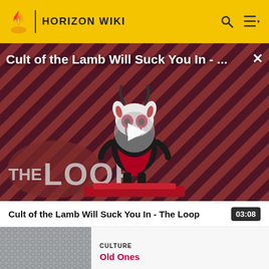HORIZON WIKI
[Figure (screenshot): Video thumbnail for 'Cult of the Lamb Will Suck You In - The Loop' showing a cartoon lamb character on a diagonal striped red/dark background with The Loop logo, and a play button overlay.]
Cult of the Lamb Will Suck You In - The Loop
03:08
[Figure (photo): Small thumbnail image of a metallic/chain-link texture, part of a recommended video.]
CULTURE
Old Ones